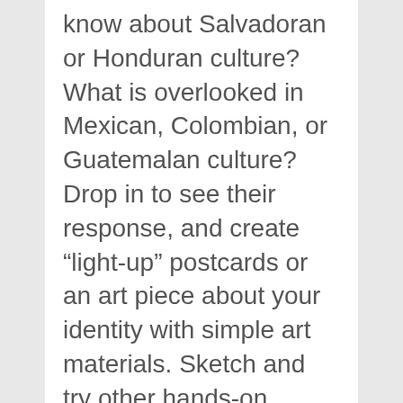know about Salvadoran or Honduran culture? What is overlooked in Mexican, Colombian, or Guatemalan culture? Drop in to see their response, and create “light-up” postcards or an art piece about your identity with simple art materials. Sketch and try other hands-on activities. Take your place with us and share how you want to be represented.
Limited metered parking available on Oxford Street or…
Amazing Archaeology Fair at